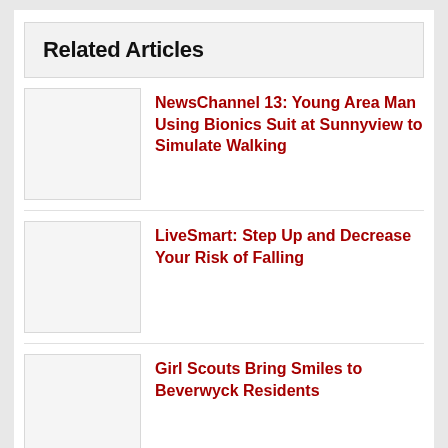Related Articles
NewsChannel 13: Young Area Man Using Bionics Suit at Sunnyview to Simulate Walking
LiveSmart: Step Up and Decrease Your Risk of Falling
Girl Scouts Bring Smiles to Beverwyck Residents
Business Review: Senior Living in